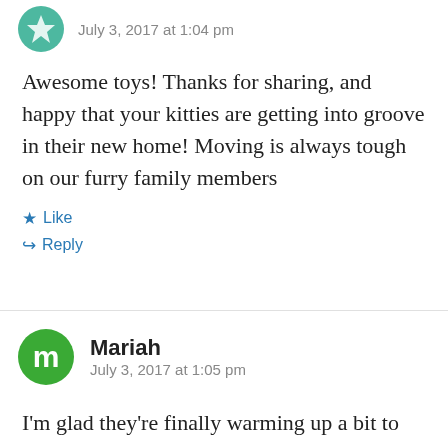[Figure (illustration): Teal star/avatar icon for commenter]
July 3, 2017 at 1:04 pm
Awesome toys! Thanks for sharing, and happy that your kitties are getting into groove in their new home! Moving is always tough on our furry family members
Like
Reply
[Figure (illustration): Green M avatar circle with letter m for commenter Mariah]
Mariah
July 3, 2017 at 1:05 pm
I'm glad they're finally warming up a bit to the new house ! & that they have